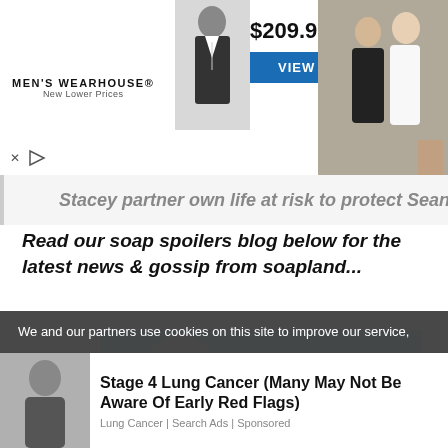[Figure (screenshot): Men's Wearhouse advertisement banner showing a suit-clad figure, price $209.99, VIEW button, and a couple in wedding attire]
Stacey partner own life at risk to protect Sean:
Read our soap spoilers blog below for the latest news & gossip from soapland...
[Figure (illustration): Draw the line illustrated campaign graphic with orange text, a cartoon green plant creature, and a leaf on a light blue background]
We and our partners use cookies on this site to improve our service,
Stage 4 Lung Cancer (Many May Not Be Aware Of Early Red Flags)
Lung Cancer | Search Ads | Sponsored